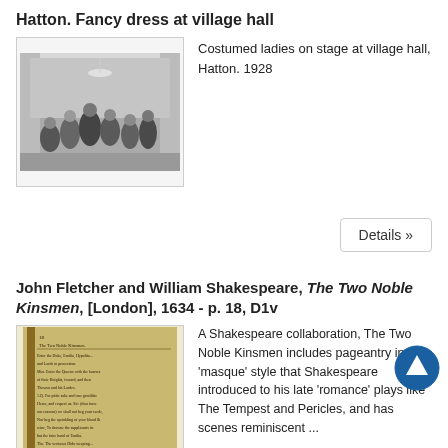Hatton. Fancy dress at village hall
[Figure (photo): Black and white photograph of costumed ladies on stage at village hall, Hatton, 1928]
Costumed ladies on stage at village hall, Hatton. 1928
Details »
John Fletcher and William Shakespeare, The Two Noble Kinsmen, [London], 1634 - p. 18, D1v
[Figure (photo): Photograph of an aged page from The Two Noble Kinsmen, 1634]
A Shakespeare collaboration, The Two Noble Kinsmen includes pageantry in the 'masque' style that Shakespeare introduced to his late 'romance' plays like The Tempest and Pericles, and has scenes reminiscent ...